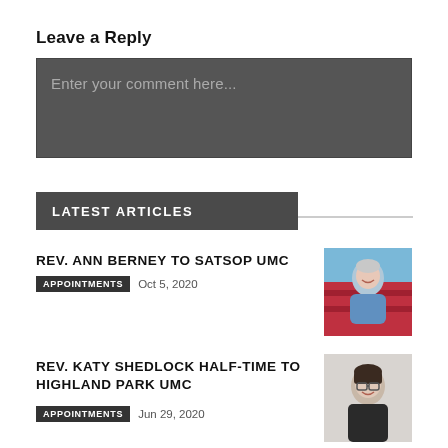Leave a Reply
Enter your comment here...
LATEST ARTICLES
REV. ANN BERNEY TO SATSOP UMC
APPOINTMENTS   Oct 5, 2020
[Figure (photo): Photo of Rev. Ann Berney, a woman smiling outdoors with red flowers in the background, wearing a blue jacket.]
REV. KATY SHEDLOCK HALF-TIME TO HIGHLAND PARK UMC
APPOINTMENTS   Jun 29, 2020
[Figure (photo): Photo of Rev. Katy Shedlock, a woman with glasses smiling, wearing a dark jacket.]